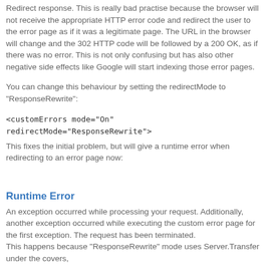Redirect response. This is really bad practise because the browser will not receive the appropriate HTTP error code and redirect the user to the error page as if it was a legitimate page. The URL in the browser will change and the 302 HTTP code will be followed by a 200 OK, as if there was no error. This is not only confusing but has also other negative side effects like Google will start indexing those error pages.
You can change this behaviour by setting the redirectMode to "ResponseRewrite":
<customErrors mode="On" redirectMode="ResponseRewrite">
This fixes the initial problem, but will give a runtime error when redirecting to an error page now:
Runtime Error
An exception occurred while processing your request. Additionally, another exception occurred while executing the custom error page for the first exception. The request has been terminated.
This happens because "ResponseRewrite" mode uses Server.Transfer under the covers,